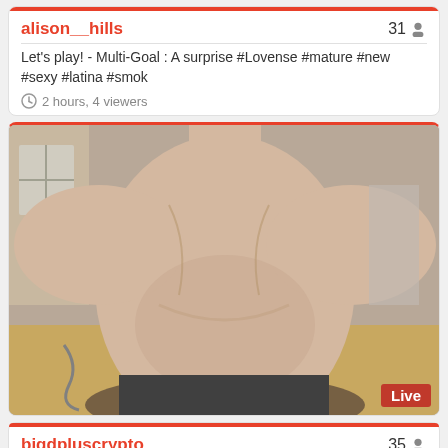alison__hills
31
Let's play! - Multi-Goal : A surprise #Lovense #mature #new #sexy #latina #smok
2 hours, 4 viewers
[Figure (photo): Live webcam stream thumbnail showing a person's torso, with a red 'Live' badge in the bottom right corner.]
bigdpluscrypto
35